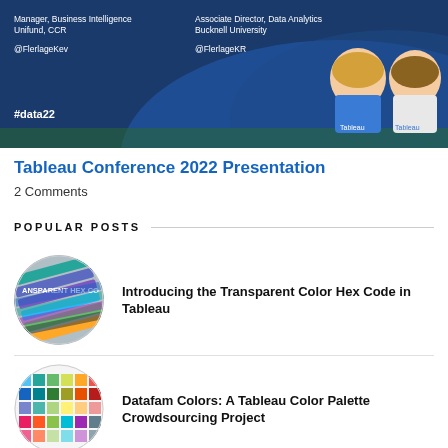[Figure (illustration): Banner for Tableau Conference 2022 Presentation with dark blue background, two cartoon character speakers, decorative wave, #data22 hashtag, and speaker info text]
Tableau Conference 2022 Presentation
2 Comments
POPULAR POSTS
[Figure (photo): Circular thumbnail image showing colorful stacked color swatches/strips with text ANSPARENT HEX CO]
Introducing the Transparent Color Hex Code in Tableau
[Figure (photo): Circular thumbnail image showing a color palette grid with rows of colored squares in rainbow spectrum]
Datafam Colors: A Tableau Color Palette Crowdsourcing Project